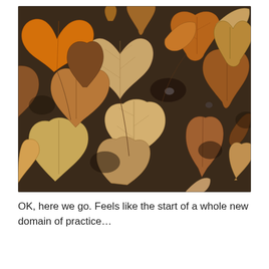[Figure (photo): Close-up photograph of autumn oak leaves in shades of orange, brown, tan, and rust, densely layered on the ground, filling the entire frame.]
OK, here we go. Feels like the start of a whole new domain of practice…